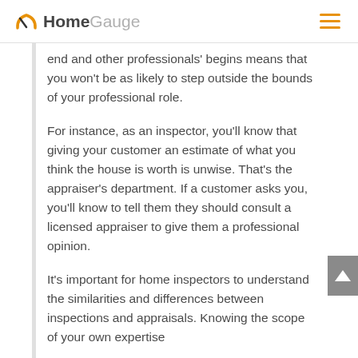HomeGauge
end and other professionals' begins means that you won't be as likely to step outside the bounds of your professional role.
For instance, as an inspector, you'll know that giving your customer an estimate of what you think the house is worth is unwise. That's the appraiser's department. If a customer asks you, you'll know to tell them they should consult a licensed appraiser to give them a professional opinion.
It's important for home inspectors to understand the similarities and differences between inspections and appraisals. Knowing the scope of your own expertise